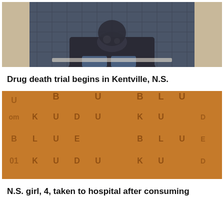[Figure (photo): Person seen from behind, sitting outdoors on a porch or bench area, wearing a dark jacket with decorative pattern, with brick wall and lattice fence in background]
Drug death trial begins in Kentville, N.S.
[Figure (photo): Close-up photograph of multiple THC-infused chocolate bars branded 'BLUE KUDUK', each square segment embossed with a THC diamond logo and '10mg' dosage text, brown chocolate color]
N.S. girl, 4, taken to hospital after consuming